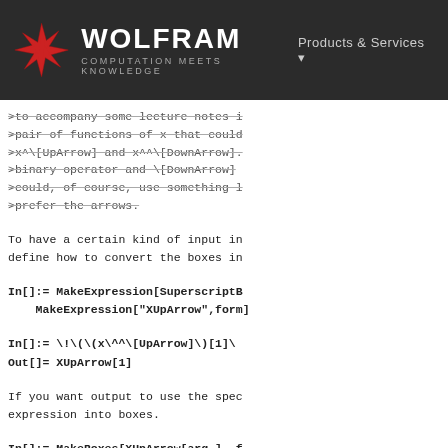WOLFRAM COMPUTATION MEETS KNOWLEDGE | Products & Services
>to accompany some lecture notes i
>pair of functions of x that could
>x^\[UpArrow] and x^^\[DownArrow].
>binary operator and \[DownArrow]
>could, of course, use something l
>prefer the arrows.
To have a certain kind of input in
define how to convert the boxes in
In[]:= MakeExpression[SuperscriptB
    MakeExpression["XUpArrow",form]
In[]:= \!\(\(x\^^\[UpArrow]\)[1]\
Out[]= XUpArrow[1]
If you want output to use the spec
expression into boxes.
In[]:= MakeBoxes[XUpArrow[arg_], f
    RowBox[{SuperscriptBox["x","\[U
In[]:= \!\(\(x\^^\[UpArrow]\)[1]\
Out[]= \!\(\(x\^^\[UpArrow]\)[1]\